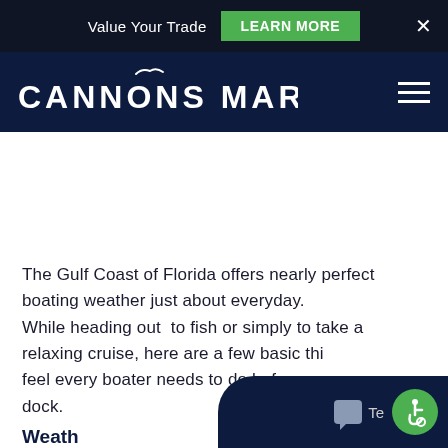Value Your Trade  LEARN MORE  ×
[Figure (logo): Cannons Marina logo — white seagull above stylized text 'CANNONS MARINA' on dark navy background, with hamburger menu icon on right]
The Gulf Coast of Florida offers nearly perfect boating weather just about everyday. While heading out to fish or simply to take a relaxing cruise, here are a few basic things we feel every boater needs to do before leaving the dock.
Weath...